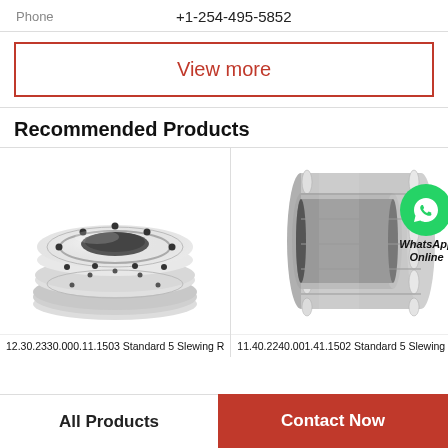Phone    +1-254-495-5852
View more
Recommended Products
[Figure (photo): Slewing ring bearing flange type, silver/steel, circular with bolt holes, two stacked rings shown at angle. Label: 12.30.2330.000.11.1503 Standard 5 Slewing R]
[Figure (photo): Slewing ring bearing cylindrical roller type, silver/steel, with WhatsApp Online overlay icon. Label: 11.40.2240.001.41.1502 Standard 5 Slewing R]
12.30.2330.000.11.1503 Standard 5 Slewing R
11.40.2240.001.41.1502 Standard 5 Slewing R
All Products
Contact Now